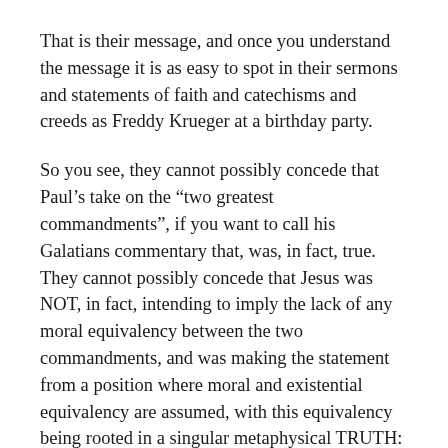That is their message, and once you understand the message it is as easy to spot in their sermons and statements of faith and catechisms and creeds as Freddy Krueger at a birthday party.
So you see, they cannot possibly concede that Paul's take on the “two greatest commandments”, if you want to call his Galatians commentary that, was, in fact, true. They cannot possibly concede that Jesus was NOT, in fact, intending to imply the lack of any moral equivalency between the two commandments, and was making the statement from a position where moral and existential equivalency are assumed, with this equivalency being rooted in a singular metaphysical TRUTH: that both man and God ARE, and thus are equal in truth and morality, and thus are both deserving of the exact same thing: love, though perhaps in different manners of expression, one of worship and the other of idealization and unfettered